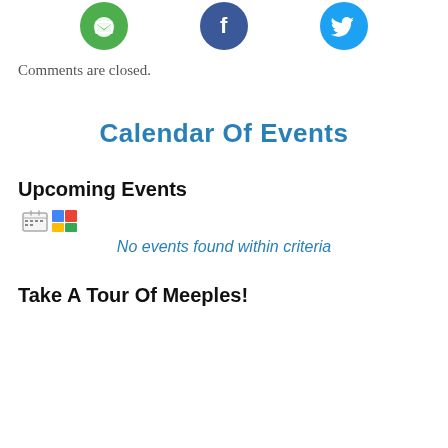[Figure (illustration): Three social media icon circles at top: green circle (email/share), blue circle (Facebook), blue circle (Twitter bird)]
Comments are closed.
Calendar Of Events
Upcoming Events
[Figure (illustration): Two small calendar/app icon images side by side]
No events found within criteria
Take A Tour Of Meeples!